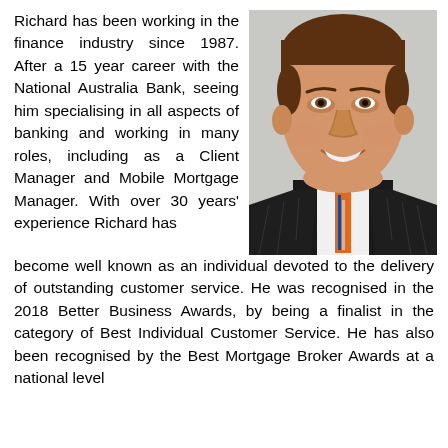Richard has been working in the finance industry since 1987. After a 15 year career with the National Australia Bank, seeing him specialising in all aspects of banking and working in many roles, including as a Client Manager and Mobile Mortgage Manager. With over 30 years' experience Richard has become well known as an individual devoted to the delivery of outstanding customer service. He was recognised in the 2018 Better Business Awards, by being a finalist in the category of Best Individual Customer Service. He has also been recognised by the Best Mortgage Broker Awards at a national level.
[Figure (photo): Professional headshot of a middle-aged man in a dark pinstripe suit with an orange and blue striped tie, smiling, against a light grey background.]